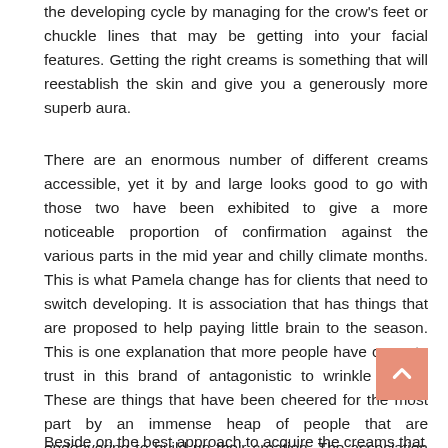the developing cycle by managing for the crow's feet or chuckle lines that may be getting into your facial features. Getting the right creams is something that will reestablish the skin and give you a generously more superb aura.
There are an enormous number of different creams accessible, yet it by and large looks good to go with those two have been exhibited to give a more noticeable proportion of confirmation against the various parts in the mid year and chilly climate months. This is what Pamela change has for clients that need to switch developing. It is association that has things that are proposed to help paying little brain to the season. This is one explanation that more people have come to trust in this brand of antagonistic to wrinkle cream. These are things that have been cheered for the most part by an immense heap of people that are endeavoring to build up their creation. The association has incalculable foe of developing conditions.
Beside on the best approach to acquire the creams that...